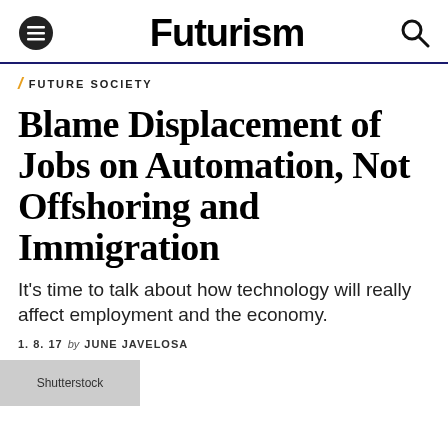Futurism
FUTURE SOCIETY
Blame Displacement of Jobs on Automation, Not Offshoring and Immigration
It's time to talk about how technology will really affect employment and the economy.
1. 8. 17 by JUNE JAVELOSA
[Figure (photo): Shutterstock image placeholder]